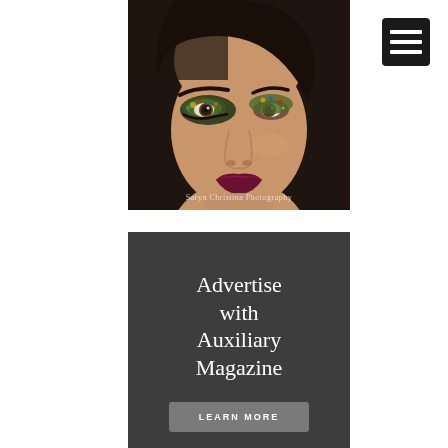[Figure (photo): Close-up portrait of a woman with dramatic colorful glitter eye makeup and dark burgundy lips against a dark background. Watermark reads 'Saryn Christina Photography'.]
[Figure (other): Hamburger/navigation menu icon: black rounded square with three white horizontal bars.]
Advertise with Auxiliary Magazine
LEARN MORE